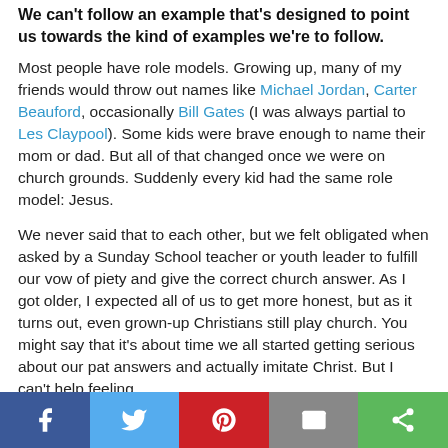We can't follow an example that's designed to point us towards the kind of examples we're to follow.
Most people have role models. Growing up, many of my friends would throw out names like Michael Jordan, Carter Beauford, occasionally Bill Gates (I was always partial to Les Claypool). Some kids were brave enough to name their mom or dad. But all of that changed once we were on church grounds. Suddenly every kid had the same role model: Jesus.
We never said that to each other, but we felt obligated when asked by a Sunday School teacher or youth leader to fulfill our vow of piety and give the correct church answer. As I got older, I expected all of us to get more honest, but as it turns out, even grown-up Christians still play church. You might say that it's about time we all started getting serious about our pat answers and actually imitate Christ. But I can't help feeling
[Figure (infographic): Social sharing bar with five buttons: Facebook (blue), Twitter (light blue), Pinterest (red), Email (gray), Share (green)]